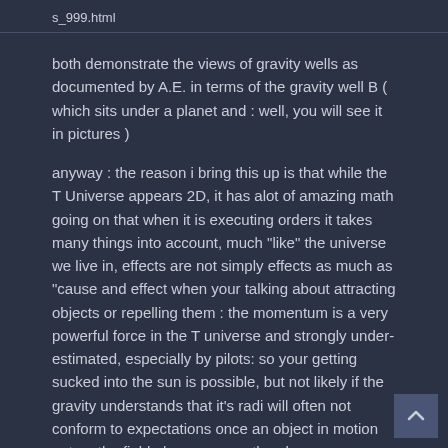s_999.html
both demonstrate the views of gravity wells as documented by A.E. in terms of the gravity well B ( which sits under a planet and : well, you will see it in pictures )
anyway : the reason i bring this up is that while the T Universe appears 2D, it has alot of amazing math going on that when it is executing orders it takes many things into account, much "like" the universe we live in, effects are not simply effects as much as "cause and effect when your talking about attracting objects or repelling them : the momentum is a very powerful force in the T universe and strongly under-estimated, especially by pilots: so your getting sucked into the sun is possible, but not likely if the gravity understands that it's radi will often not conform to expectations once an object in motion enters the field : because you then have more going on then simply the tug.
Asteroid belts orbiting the star can have their own gravity wells: we call them " black holes " and while they